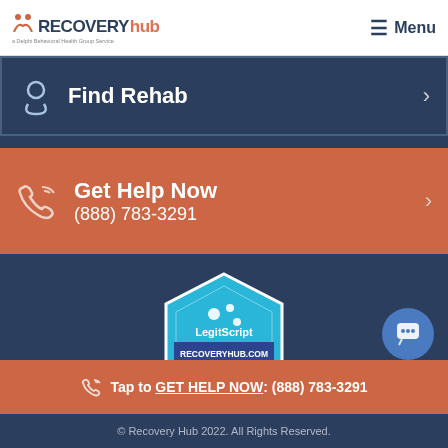RECOVERY hub — a Delphi Behavioral Health Group Service | Menu
Find Rehab
Get Help Now (888) 783-3291
[Figure (logo): LegitScript certified badge for RECOVERYHUB.COM dated 09/05/22]
Tap to GET HELP NOW: (888) 783-3291
© Recovery Hub 2022. All Rights Reserved.